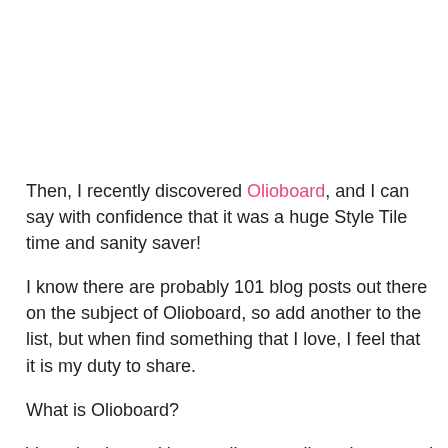Then, I recently discovered Olioboard, and I can say with confidence that it was a huge Style Tile time and sanity saver!
I know there are probably 101 blog posts out there on the subject of Olioboard, so add another to the list, but when find something that I love, I feel that it is my duty to share.
What is Olioboard?
Very simply put, it's an online moodboard creator.  I call them Style Tiles, but same difference.  And it's FREE!
So here is my Olioboard story and "How To"...
I have a bestest friend who has a little boy, Nash, and he is